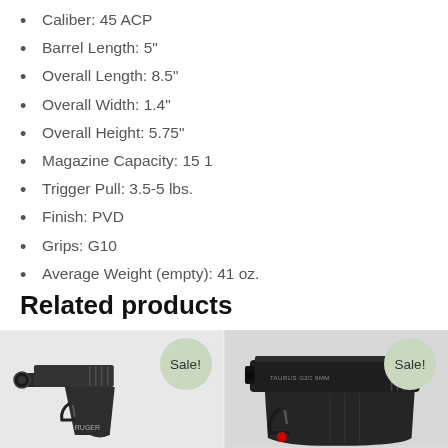Caliber: 45 ACP
Barrel Length: 5"
Overall Length: 8.5"
Overall Width: 1.4"
Overall Height: 5.75"
Magazine Capacity: 15 1
Trigger Pull: 3.5-5 lbs.
Finish: PVD
Grips: G10
Average Weight (empty): 41 oz.
Related products
[Figure (photo): Ruger pistol product photo with Sale! badge]
[Figure (photo): Second pistol product photo with Sale! badge]